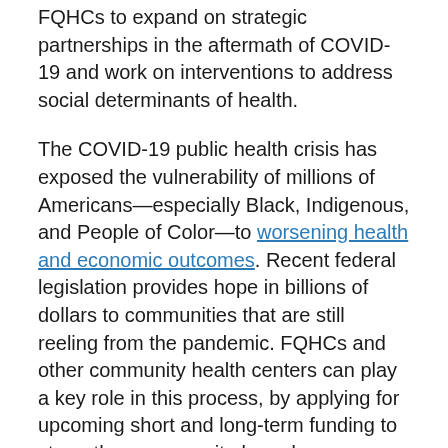FQHCs to expand on strategic partnerships in the aftermath of COVID-19 and work on interventions to address social determinants of health.
The COVID-19 public health crisis has exposed the vulnerability of millions of Americans—especially Black, Indigenous, and People of Color—to worsening health and economic outcomes. Recent federal legislation provides hope in billions of dollars to communities that are still reeling from the pandemic. FQHCs and other community health centers can play a key role in this process, by applying for upcoming short and long-term funding to strengthen community-based responses to public health crises and tackle social determinants of health. By doing so, it would cement their reputation as national leaders in the uptake of social